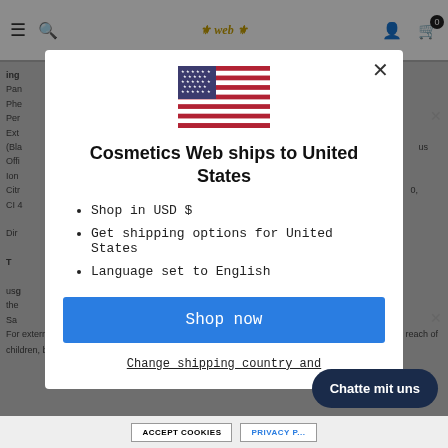[Figure (screenshot): Screenshot of a cosmetics website (Cosmetics Web) showing a modal popup dialog. The background shows a product page with navigation bar including hamburger menu, search, logo, user icon, and cart (0 items). The background content shows ingredient text partially visible. A dark overlay covers the background. The modal contains a US flag, title 'Cosmetics Web ships to United States', bullet points about USD currency, shipping options, and English language, a blue 'Shop now' button, and a 'Change shipping country and' link. A dark chat button 'Chatte mit uns' appears bottom right. A cookie acceptance bar appears at the bottom.]